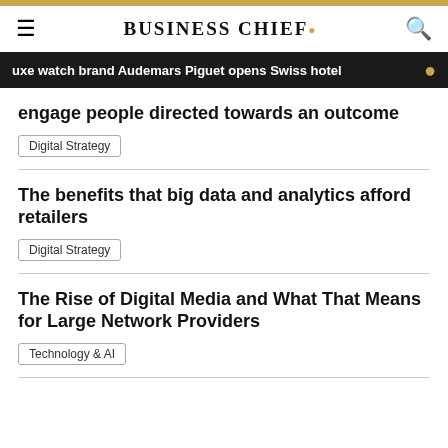BUSINESS CHIEF.
uxe watch brand Audemars Piguet opens Swiss hotel
engage people directed towards an outcome
Digital Strategy
The benefits that big data and analytics afford retailers
Digital Strategy
The Rise of Digital Media and What That Means for Large Network Providers
Technology & AI